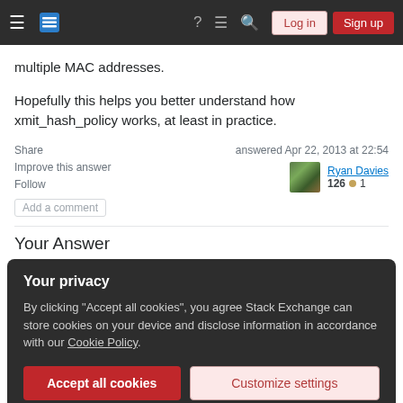Stack Exchange navigation bar with Log in and Sign up buttons
multiple MAC addresses.
Hopefully this helps you better understand how xmit_hash_policy works, at least in practice.
Share
Improve this answer
Follow
Add a comment
answered Apr 22, 2013 at 22:54
Ryan Davies
126 ● 1
Your Answer
Your privacy
By clicking "Accept all cookies", you agree Stack Exchange can store cookies on your device and disclose information in accordance with our Cookie Policy.
Accept all cookies   Customize settings